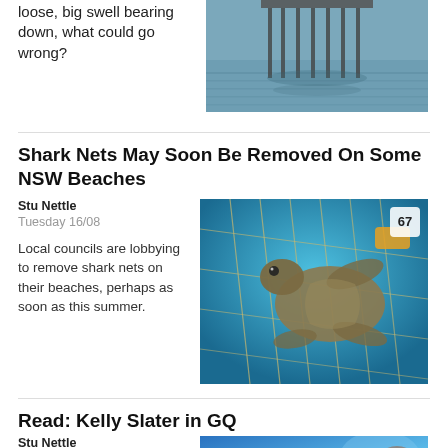loose, big swell bearing down, what could go wrong?
[Figure (photo): Pier over water with posts visible]
Shark Nets May Soon Be Removed On Some NSW Beaches
Stu Nettle
Tuesday 16/08
Local councils are lobbying to remove shark nets on their beaches, perhaps as soon as this summer.
[Figure (photo): Sea turtle entangled in shark net underwater, badge showing 67]
Read: Kelly Slater in GQ
Stu Nettle
[Figure (photo): Partial image with blue background, TOP 70 badge]